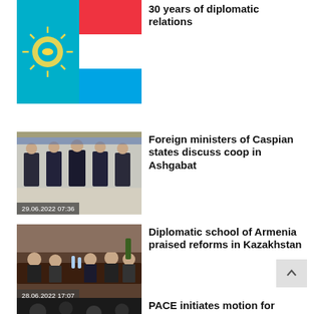[Figure (photo): Kazakhstan and Luxembourg flags side by side]
30 years of diplomatic relations
[Figure (photo): Five diplomats in suits standing in a row, dated 29.06.2022 07:36]
Foreign ministers of Caspian states discuss coop in Ashgabat
[Figure (photo): Meeting around a conference table, dated 28.06.2022 17:07]
Diplomatic school of Armenia praised reforms in Kazakhstan
[Figure (photo): Partial thumbnail with timestamp 28.06.2022 13:47]
PACE initiates motion for